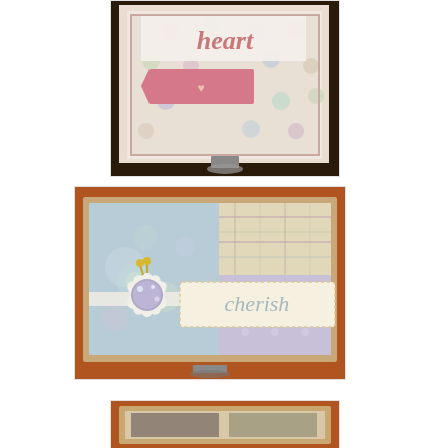[Figure (photo): A handmade greeting card with pastel polka dot pattern paper, a pink pennant/banner embellishment with a small heart arrow design, displayed on a silver metal stand against a dark background. The word 'heart' is visible at the top of the card.]
[Figure (photo): A handmade scrapbook-style greeting card with pastel patterned papers including plaid and floral designs, featuring a large white flower with a purple glittery button center and yellow stamens, and a cream banner label with the word 'cherish' in soft cursive lettering. The card is displayed on a silver spiral stand.]
[Figure (photo): Partial view of a third handmade card displayed on a stand, mostly cropped at the bottom of the page.]